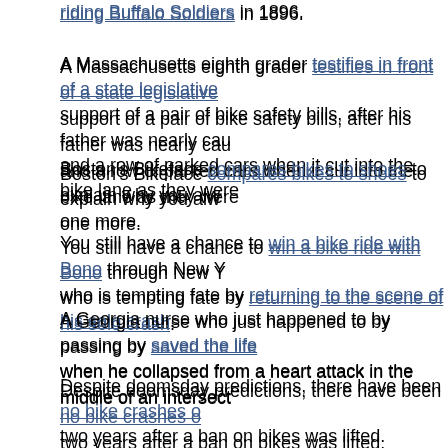riding Buffalo Soldiers in 1896.
A Massachusetts eighth grader testifies in front of a state legislative support of a pair of bike safety bills, after his father was nearly cau and a row of parked cars when it cut into the bike lane as they were
Boston's Bikeface compares bikes to shoes to explain why you alw one more.
You still have a chance to win a bike ride with Bono through New Y who is tempting fate by returning to the scene of his solo crash.
A Georgia nurse who just happened to by passing by saved the life when he collapsed from a heart attack in the middle of an intersect
Despite doomsday predictions, there have been no bike crashes o two years after a ban on bikes was lifted.
International
Caught on video: An angry Brit bike rider confronts a driver inside a